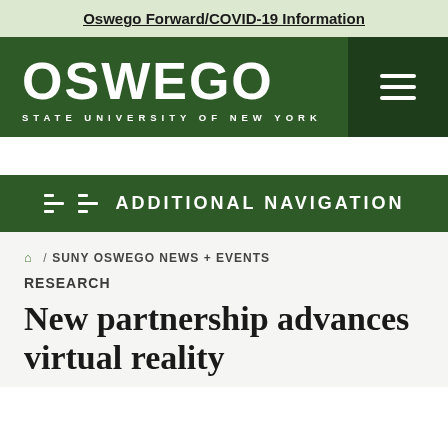Oswego Forward/COVID-19 Information
[Figure (logo): OSWEGO STATE UNIVERSITY OF NEW YORK logo with hamburger menu icon on dark green background]
ADDITIONAL NAVIGATION
/ SUNY OSWEGO NEWS + EVENTS
RESEARCH
New partnership advances virtual reality research at SUNY